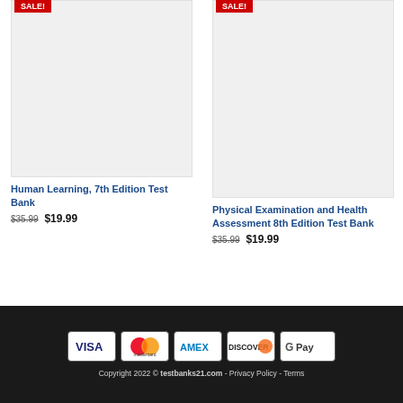[Figure (other): Product card with Sale badge and placeholder image for Human Learning 7th Edition Test Bank]
Human Learning, 7th Edition Test Bank
$35.99  $19.99
[Figure (other): Product card with Sale badge and placeholder image for Physical Examination and Health Assessment 8th Edition Test Bank]
Physical Examination and Health Assessment 8th Edition Test Bank
$35.99  $19.99
[Figure (other): Payment method icons: Visa, Mastercard, AMEX, Discover, Google Pay]
Copyright 2022 © testbanks21.com - Privacy Policy - Terms